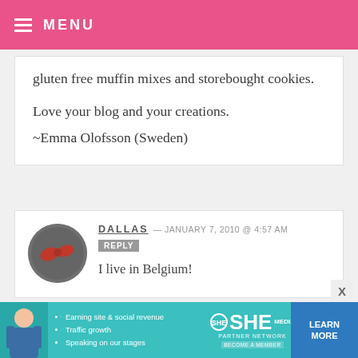MENU
gluten free muffin mixes and storebought cookies.
Love your blog and your creations.
~Emma Olofsson (Sweden)
DALLAS — JANUARY 7, 2010 @ 4:57 AM REPLY
I live in Belgium!
SOFIA — JANUARY 7, 2010 @ 4:46 AM REPLY